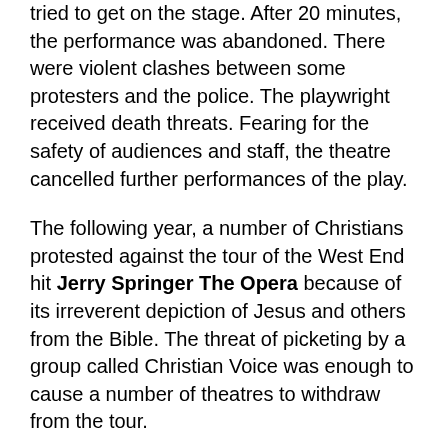tried to get on the stage. After 20 minutes, the performance was abandoned. There were violent clashes between some protesters and the police. The playwright received death threats. Fearing for the safety of audiences and staff, the theatre cancelled further performances of the play.
The following year, a number of Christians protested against the tour of the West End hit Jerry Springer The Opera because of its irreverent depiction of Jesus and others from the Bible. The threat of picketing by a group called Christian Voice was enough to cause a number of theatres to withdraw from the tour.
So, today shocking plays like A Game At Chess, The Country Wife, Mrs Warren's Profession and The Romans In Britain can be performed British theatres without censorship by the authorities or by the law. However, as Behtzi shows, in these days of people